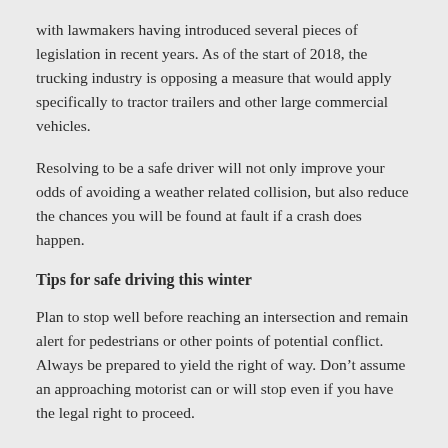with lawmakers having introduced several pieces of legislation in recent years. As of the start of 2018, the trucking industry is opposing a measure that would apply specifically to tractor trailers and other large commercial vehicles.
Resolving to be a safe driver will not only improve your odds of avoiding a weather related collision, but also reduce the chances you will be found at fault if a crash does happen.
Tips for safe driving this winter
Plan to stop well before reaching an intersection and remain alert for pedestrians or other points of potential conflict. Always be prepared to yield the right of way. Don’t assume an approaching motorist can or will stop even if you have the legal right to proceed.